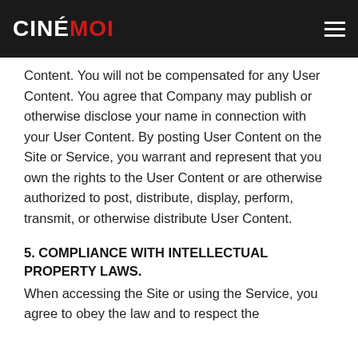CINÉMOI
Content. You will not be compensated for any User Content. You agree that Company may publish or otherwise disclose your name in connection with your User Content. By posting User Content on the Site or Service, you warrant and represent that you own the rights to the User Content or are otherwise authorized to post, distribute, display, perform, transmit, or otherwise distribute User Content.
5. COMPLIANCE WITH INTELLECTUAL PROPERTY LAWS.
When accessing the Site or using the Service, you agree to obey the law and to respect the